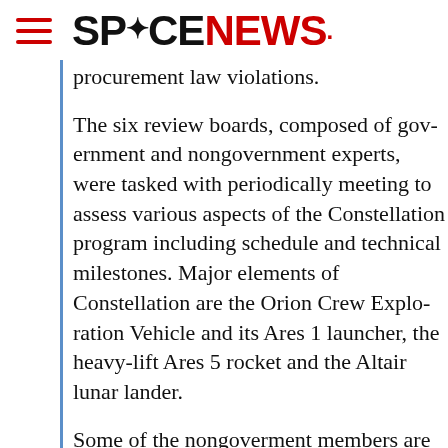SPACENEWS
procurement law violations.
The six review boards, composed of government and nongovernment experts, were tasked with periodically meeting to assess various aspects of the Constellation program including schedule and technical milestones. Major elements of Constellation are the Orion Crew Exploration Vehicle and its Ares 1 launcher, the heavy-lift Ares 5 rocket and the Altair lunar lander.
Some of the nongoverment members are paid while others volunteer their time, said NASA spokesman David Steitz.
The inspector general's investigation fo